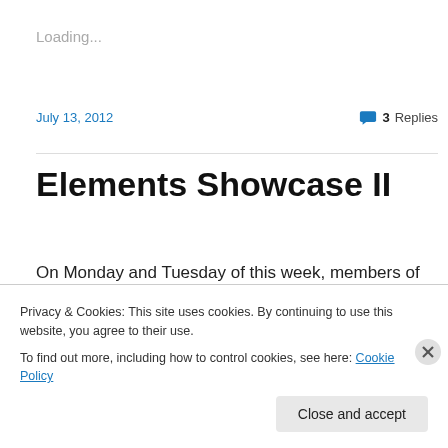Loading...
July 13, 2012
3 Replies
Elements Showcase II
On Monday and Tuesday of this week, members of the beauty and fragrance industry gathered to attend the
Privacy & Cookies: This site uses cookies. By continuing to use this website, you agree to their use.
To find out more, including how to control cookies, see here: Cookie Policy
Close and accept